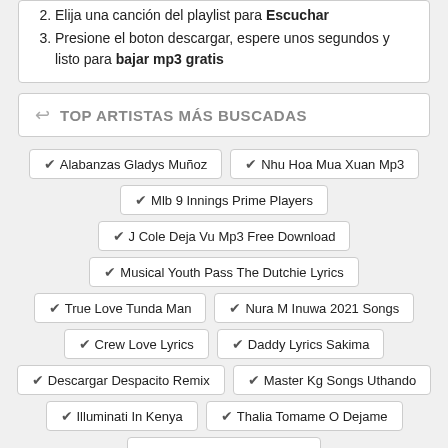2. Elija una canción del playlist para Escuchar
3. Presione el boton descargar, espere unos segundos y listo para bajar mp3 gratis
TOP ARTISTAS MÁS BUSCADAS
✔Alabanzas Gladys Muñoz
✔Nhu Hoa Mua Xuan Mp3
✔Mlb 9 Innings Prime Players
✔J Cole Deja Vu Mp3 Free Download
✔Musical Youth Pass The Dutchie Lyrics
✔True Love Tunda Man
✔Nura M Inuwa 2021 Songs
✔Crew Love Lyrics
✔Daddy Lyrics Sakima
✔Descargar Despacito Remix
✔Master Kg Songs Uthando
✔Illuminati In Kenya
✔Thalia Tomame O Dejame
✔Nino Bravo Tu Cambiarás
✔Intaba Yase Dubai Song Download Shali…
✔Yalvoo Atif Aslam…